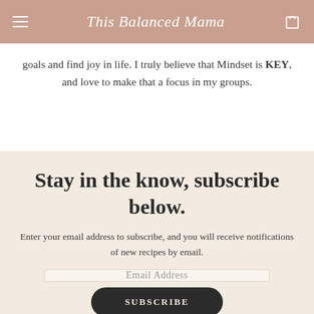This Balanced Mama
goals and find joy in life. I truly believe that Mindset is KEY, and love to make that a focus in my groups.
Stay in the know, subscribe below.
Enter your email address to subscribe, and you will receive notifications of new recipes by email.
Email Address
SUBSCRIBE